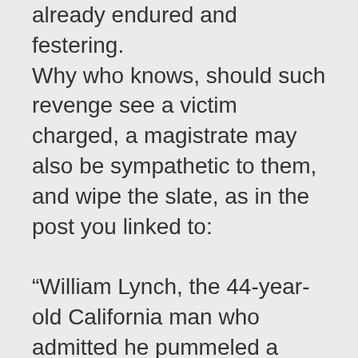already endured and festering. Why who knows, should such revenge see a victim charged, a magistrate may also be sympathetic to them, and wipe the slate, as in the post you linked to:

“William Lynch, the 44-year-old California man who admitted he pummeled a Jesuit priest who he said abused him as a boy,